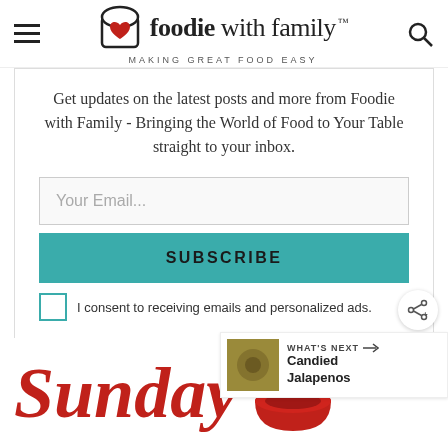foodie with family™ — MAKING GREAT FOOD EASY
Get updates on the latest posts and more from Foodie with Family - Bringing the World of Food to Your Table straight to your inbox.
Your Email...
SUBSCRIBE
I consent to receiving emails and personalized ads.
Sunday
WHAT'S NEXT → Candied Jalapenos